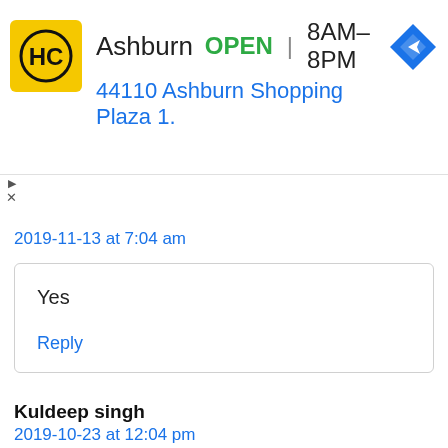[Figure (screenshot): Advertisement banner for HC (Haircuttery or similar) showing location in Ashburn, open status 8AM-8PM, address 44110 Ashburn Shopping Plaza 1., navigation icon, and ad controls (play/close buttons).]
Sionana
2019-11-13 at 7:04 am
Yes
Reply
Kuldeep singh
2019-10-23 at 12:04 pm